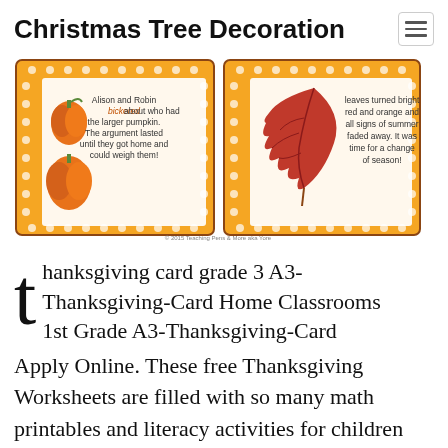Christmas Tree Decoration
[Figure (illustration): Two Thanksgiving-themed reading cards side by side with orange polka-dot borders. Left card shows pumpkin illustrations and text: 'Alison and Robin bickered about who had the larger pumpkin. The argument lasted until they got home and could weigh them!' Right card shows a red autumn leaf illustration and text: 'leaves turned bright red and orange and all signs of summer faded away. It was time for a change of season!']
thanksgiving card grade 3 A3-Thanksgiving-Card Home Classrooms 1st Grade A3-Thanksgiving-Card Apply Online. These free Thanksgiving Worksheets are filled with so many math printables and literacy activities for children from toddler pre k preschool